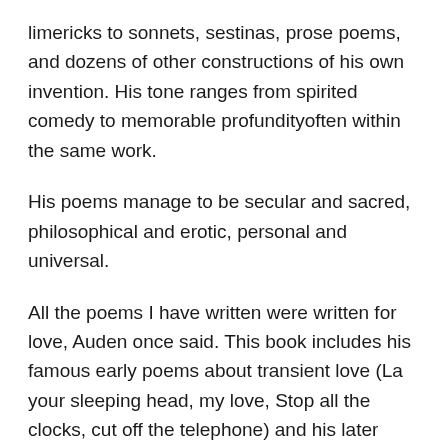limericks to sonnets, sestinas, prose poems, and dozens of other constructions of his own invention. His tone ranges from spirited comedy to memorable profundityoften within the same work.
His poems manage to be secular and sacred, philosophical and erotic, personal and universal.
All the poems I have written were written for love, Auden once said. This book includes his famous early poems about transient love (La your sleeping head, my love, Stop all the clocks, cut off the telephone) and his later poems about enduring love (In Sickness and in Health, First Things First).
The book also includes Audens longer, more thematically varied poems, from the expressionist charade Paid on Both Sides to the formal couplets of New Year Letter; the darkly comic sequel to The